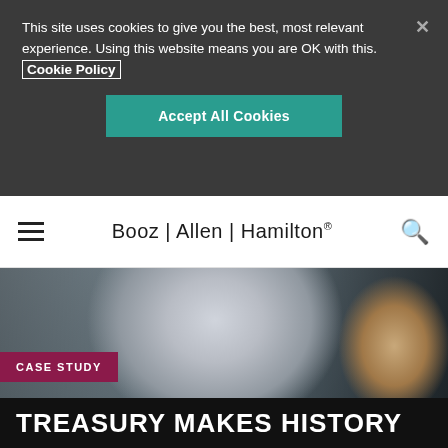This site uses cookies to give you the best, most relevant experience. Using this website means you are OK with this. Cookie Policy
Accept All Cookies
Booz | Allen | Hamilton®
[Figure (photo): Person in a patterned sweater writing with a pen on paper while using a laptop, office environment]
CASE STUDY
TREASURY MAKES HISTORY